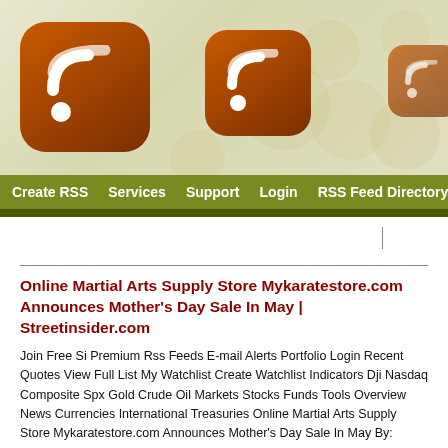[Figure (screenshot): Website header banner with RSS feed icons (large orange RSS icon on left, medium orange RSS icon in center, smaller faded icons to the right) on a light olive/cream bokeh background]
Create RSS   Services   Support   Login   RSS Feed Directory
Online Martial Arts Supply Store Mykaratestore.com Announces Mother's Day Sale In May | Streetinsider.com
Join Free Si Premium Rss Feeds E-mail Alerts Portfolio Login Recent Quotes View Full List My Watchlist Create Watchlist Indicators Dji Nasdaq Composite Spx Gold Crude Oil Markets Stocks Funds Tools Overview News Currencies International Treasuries Online Martial Arts Supply Store Mykaratestore.com Announces Mother's Day Sale In May By: Press Releases April 19, 2022 At 19:30 Pm Edt Online Martial Arts Supply Store Mykaratestore.com Has Announced That It Is Having A Mother's ...
[Figure (other): QR code (black and white matrix barcode) in the lower left portion of the page]